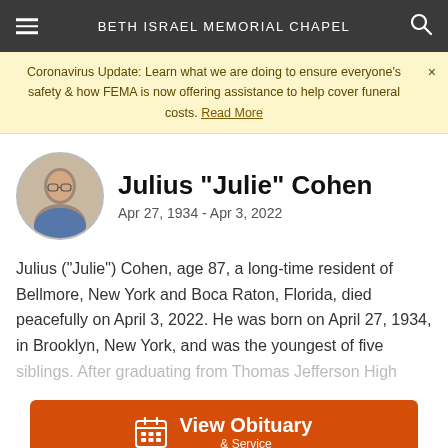BETH ISRAEL MEMORIAL CHAPEL
Coronavirus Update: Learn what we are doing to ensure everyone's safety & how FEMA is now offering assistance to help cover funeral costs. Read More
Julius "Julie" Cohen
Apr 27, 1934 - Apr 3, 2022
[Figure (photo): Circular portrait photo of Julius Cohen, an elderly man wearing glasses]
Julius (“Julie”) Cohen, age 87, a long-time resident of Bellmore, New York and Boca Raton, Florida, died peacefully on April 3, 2022. He was born on April 27, 1934, in Brooklyn, New York, and was the youngest of five siblings. After graduating from Thomas Jefferson High
View Obituary & Service